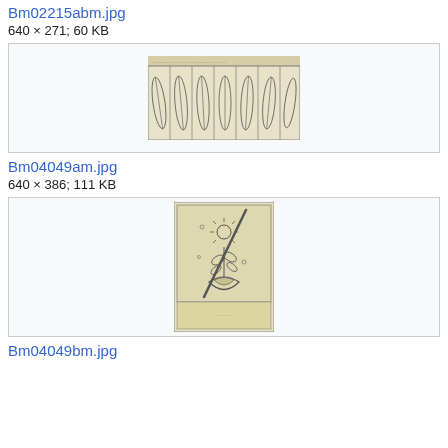Bm02215abm.jpg
640 × 271; 60 KB
[Figure (illustration): Historical manuscript illustration showing a row of feather or leaf-like shapes arranged in panels, with decorative border at top, rendered in black ink on aged paper.]
Bm04049am.jpg
640 × 386; 111 KB
[Figure (illustration): Historical manuscript illustration showing a decorative emblem featuring a crescent moon at bottom, flowering plant or torch in center with sun symbol, and a diagonal staff or sword, enclosed in a rectangular frame on aged paper.]
Bm04049bm.jpg